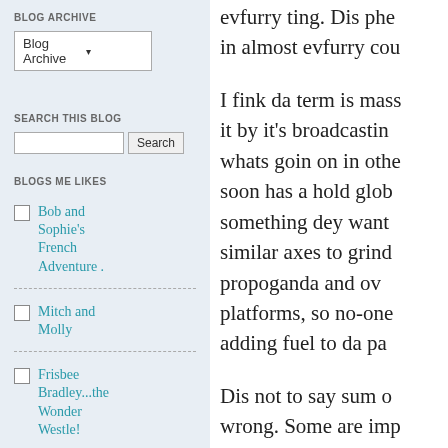BLOG ARCHIVE
Blog Archive ▾
SEARCH THIS BLOG
[Search input] [Search button]
BLOGS ME LIKES
Bob and Sophie's French Adventure .
Mitch and Molly
Frisbee Bradley...the Wonder Westle!
Princess Leah's Blog
evfurry ting. Dis phe in almost evfurry cou

I fink da term is mass it by it's broadcastin whats goin on in othe soon has a hold glob something dey want similar axes to grind propoganda and ov platforms, so no-one adding fuel to da pa

Dis not to say sum o wrong. Some are imp to my mind. But I'm ju